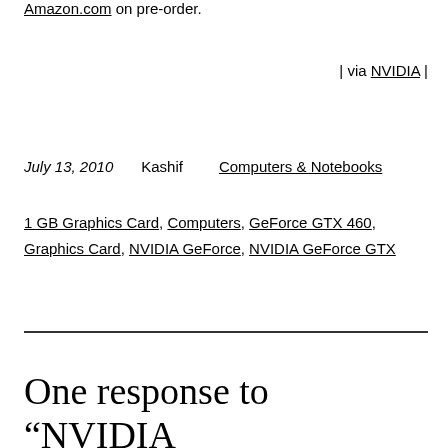Amazon.com on pre-order.
| via NVIDIA |
July 13, 2010   Kashif   Computers & Notebooks
1 GB Graphics Card, Computers, GeForce GTX 460, Graphics Card, NVIDIA GeForce, NVIDIA GeForce GTX
One response to “NVIDIA